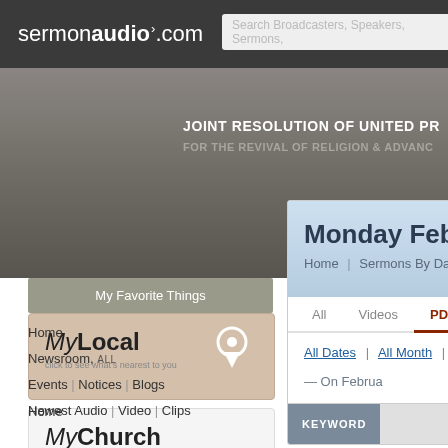sermonaudio.com | Search Broadcasters, Speakers, Sermons,
[Figure (screenshot): SermonAudio.com website screenshot showing hero banner with text JOINT RESOLUTION OF UNITED PR... FOR THE REVIVAL OF RELIGION & ADVAN...]
My Favorite Things
[Figure (illustration): MyLocal button with map pin icon and text: click to see what's nearest to you]
[Figure (illustration): MyChurch button with text: click to specify your home church]
Home
Newsroom, ALL
Events | Notices | Blogs
Newest Audio | Video | Clips
Monday February
Home | Sermons By Date
All   Videos   PDFs
All Dates | All Month | Prev Month
— On Februa
KEYWORD